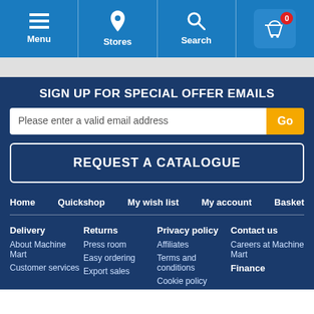Menu | Stores | Search | Basket 0
SIGN UP FOR SPECIAL OFFER EMAILS
Please enter a valid email address | Go
REQUEST A CATALOGUE
Home | Quickshop | My wish list | My account | Basket
Delivery
Returns
Privacy policy
Contact us
About Machine Mart
Press room
Affiliates
Careers at Machine Mart
Customer services
Easy ordering
Terms and conditions
Finance
Export sales
Cookie policy